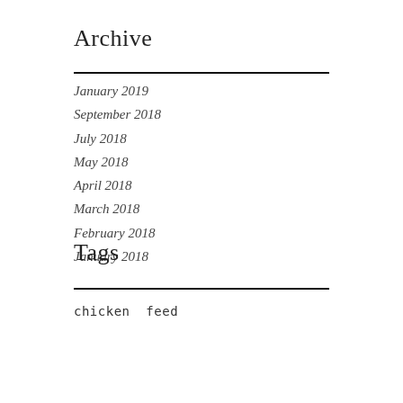Archive
January 2019
September 2018
July 2018
May 2018
April 2018
March 2018
February 2018
January 2018
Tags
chicken  feed